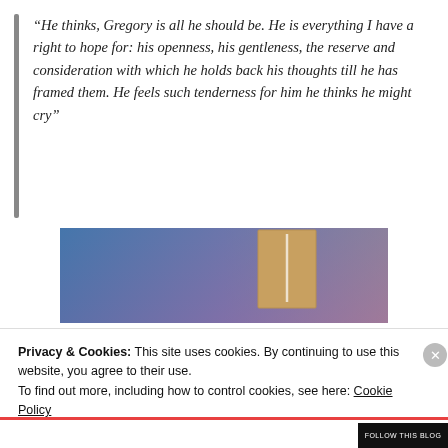“He thinks, Gregory is all he should be. He is everything I have a right to hope for: his openness, his gentleness, the reserve and consideration with which he holds back his thoughts till he has framed them. He feels such tenderness for him he thinks he might cry”
[Figure (illustration): Partial view of a book cover with a blue-to-purple gradient background and a tan/brown rectangular shape in the center, partially visible]
Privacy & Cookies: This site uses cookies. By continuing to use this website, you agree to their use.
To find out more, including how to control cookies, see here: Cookie Policy